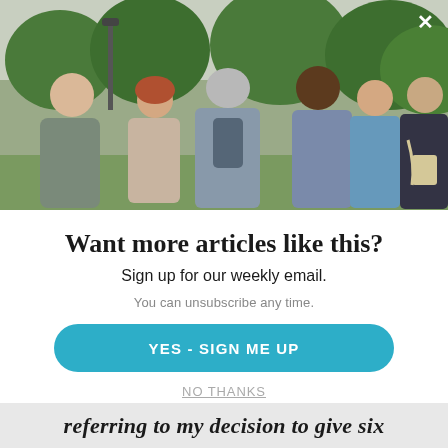[Figure (photo): Group of six people standing outdoors in a park or campus setting, engaged in conversation. Green trees and a lamp post visible in background. People include a bald man in gray shirt, a woman with curly red hair, an older man with gray hair seen from behind, a man with dark curly hair and beard in a plaid shirt with a bag, a woman in a blue dotted top, and a man in dark jacket. Overcast sky.]
Want more articles like this?
Sign up for our weekly email.
You can unsubscribe any time.
YES - SIGN ME UP
NO THANKS
referring to my decision to give six